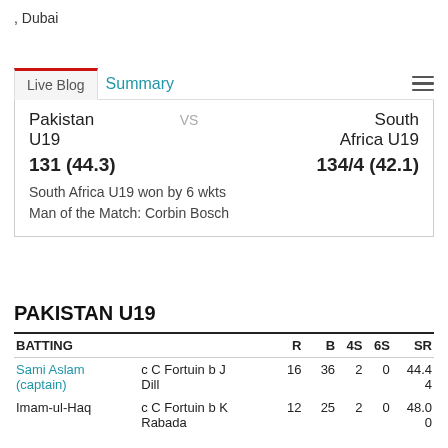, Dubai
Live Blog | Summary
| Pakistan U19 | VS | South Africa U19 |
| 131 (44.3) |  | 134/4 (42.1) |
| South Africa U19 won by 6 wkts |  |  |
| Man of the Match: Corbin Bosch |  |  |
PAKISTAN U19
| BATTING |  | R | B | 4S | 6S | SR |
| --- | --- | --- | --- | --- | --- | --- |
| Sami Aslam (captain) | c C Fortuin b J Dill | 16 | 36 | 2 | 0 | 44.44 |
| Imam-ul-Haq | c C Fortuin b K Rabada | 12 | 25 | 2 | 0 | 48.00 |